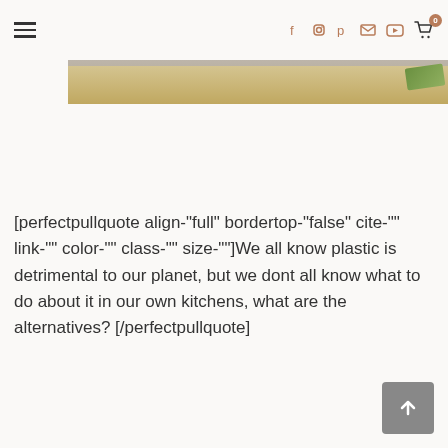Navigation bar with hamburger menu and social icons (Facebook, Instagram, Pinterest, Email, YouTube) and cart with 0 items
[Figure (photo): Partial photo of a wooden surface with a green bowl or plate, light background at top, wood grain at bottom]
[perfectpullquote align="full" bordertop="false" cite="" link="" color="" class="" size=""]We all know plastic is detrimental to our planet, but we dont all know what to do about it in our own kitchens, what are the alternatives?[/perfectpullquote]